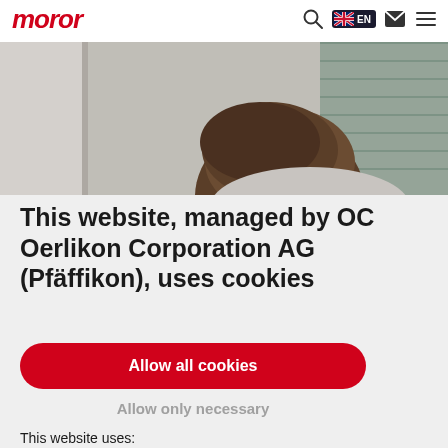moror (logo)
[Figure (photo): Partial view of a person's head from behind, in an office or indoor setting with blurred background]
This website, managed by OC Oerlikon Corporation AG (Pfäffikon), uses cookies
Allow all cookies
Allow only necessary
This website uses:
necessary cookies: ensure the normal functioning of the website by enabling basic